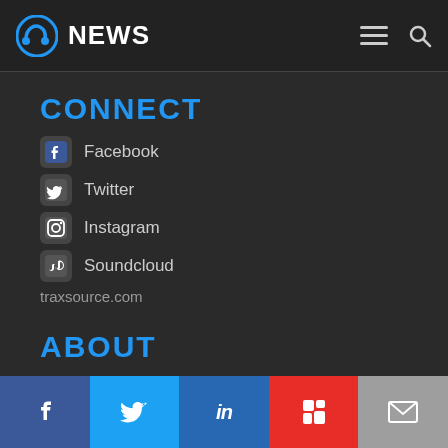NEWS
CONNECT
Facebook
Twitter
Instagram
Soundcloud
traxsource.com
ABOUT
About
© 2022 Traxource. All Rights Reserved.
Facebook Twitter LinkedIn Flipboard Email